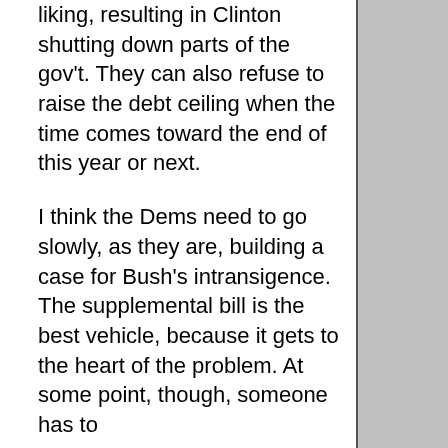liking, resulting in Clinton shutting down parts of the gov't. They can also refuse to raise the debt ceiling when the time comes toward the end of this year or next.
I think the Dems need to go slowly, as they are, building a case for Bush's intransigence. The supplemental bill is the best vehicle, because it gets to the heart of the problem. At some point, though, someone has to